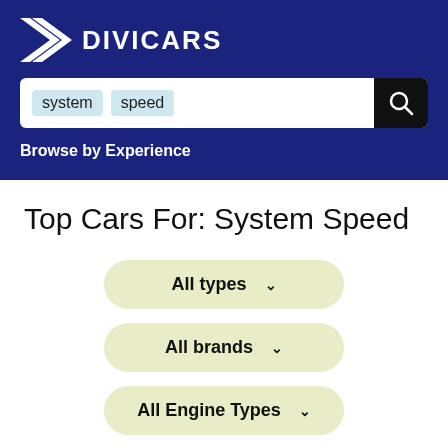DIVICARS
system speed
Browse by Experience
Top Cars For: System Speed
All types ∨
All brands ∨
All Engine Types ∨